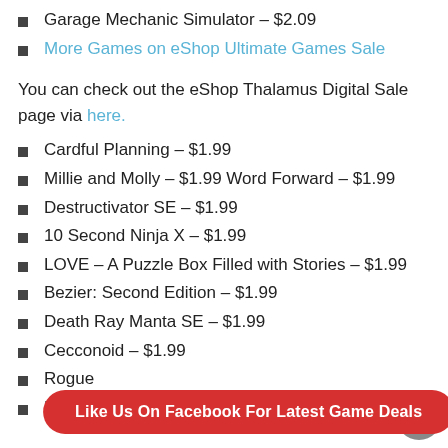Garage Mechanic Simulator – $2.09
More Games on eShop Ultimate Games Sale
You can check out the eShop Thalamus Digital Sale page via here.
Cardful Planning – $1.99
Millie and Molly – $1.99 Word Forward – $1.99
Destructivator SE – $1.99
10 Second Ninja X – $1.99
LOVE – A Puzzle Box Filled with Stories – $1.99
Bezier: Second Edition – $1.99
Death Ray Manta SE – $1.99
Cecconoid – $1.99
Rogue
Lumo –
Like Us On Facebook For Latest Game Deals